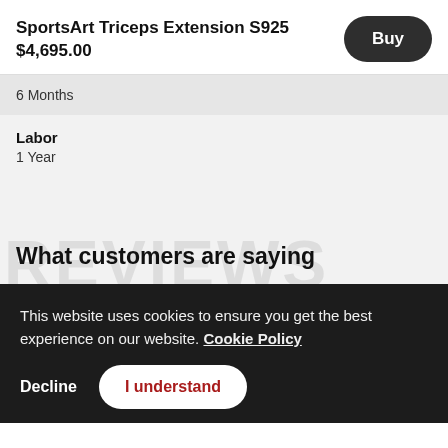SportsArt Triceps Extension S925
$4,695.00
Buy
6 Months
Labor
1 Year
REVIEWS
What customers are saying
This website uses cookies to ensure you get the best experience on our website. Cookie Policy
Decline
I understand